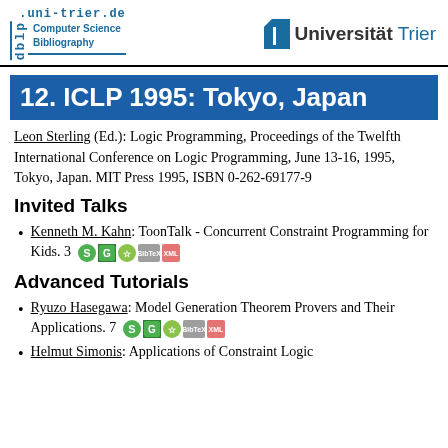dblp.uni-trier.de Computer Science Bibliography | Universität Trier
12. ICLP 1995: Tokyo, Japan
Leon Sterling (Ed.): Logic Programming, Proceedings of the Twelfth International Conference on Logic Programming, June 13-16, 1995, Tokyo, Japan. MIT Press 1995, ISBN 0-262-69177-9
Invited Talks
Kenneth M. Kahn: ToonTalk - Concurrent Constraint Programming for Kids. 3
Advanced Tutorials
Ryuzo Hasegawa: Model Generation Theorem Provers and Their Applications. 7
Helmut Simonis: Applications of Constraint Logic